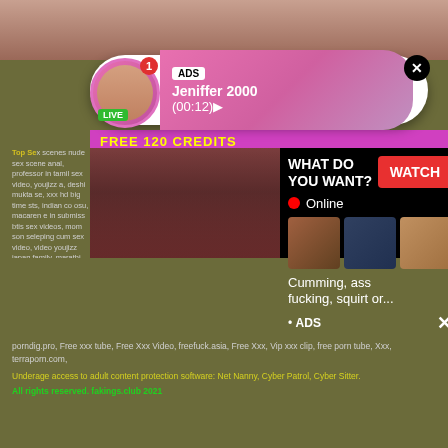[Figure (photo): Top strip showing partial background image]
[Figure (screenshot): Ad notification popup showing avatar with LIVE badge, ADS label, name Jeniffer 2000, time (00:12), pink gradient background, close X button]
FREE 120 CREDITS
[Figure (screenshot): Adult content ad overlay with WHAT DO YOU WANT? text, WATCH button, Online indicator, thumbnail images, text 'Cumming, ass fucking, squirt or...' and ADS label]
Top Se... [partial text with adult content links]
porndig.pro, Free xxx tube, Free Xxx Video, freefuck.asia, Free Xxx, Vip xxx clip, free porn tube, Xxx, terraporn.com,
Underage access to adult content protection software: Net Nanny, Cyber Patrol, Cyber Sitter.
All rights reserved. fakings.club 2021